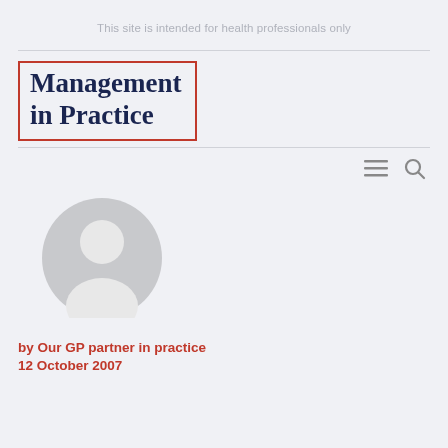This site is intended for health professionals only
[Figure (logo): Management in Practice logo — bold serif text in dark navy inside an orange rectangular border outline]
[Figure (illustration): Generic grey user avatar circle with head and shoulders silhouette]
by Our GP partner in practice
12 October 2007